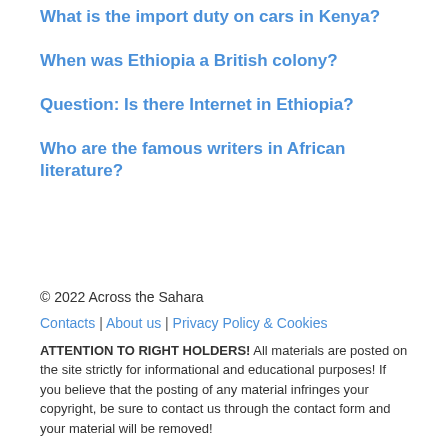What is the import duty on cars in Kenya?
When was Ethiopia a British colony?
Question: Is there Internet in Ethiopia?
Who are the famous writers in African literature?
© 2022 Across the Sahara
Contacts | About us | Privacy Policy & Cookies
ATTENTION TO RIGHT HOLDERS! All materials are posted on the site strictly for informational and educational purposes! If you believe that the posting of any material infringes your copyright, be sure to contact us through the contact form and your material will be removed!